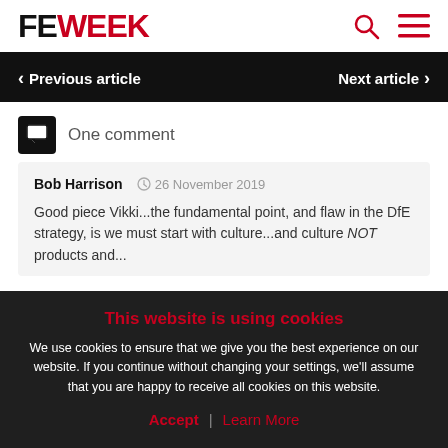FE WEEK
Previous article   Next article
One comment
Bob Harrison   26 November 2019
Good piece Vikki...the fundamental point, and flaw in the DfE strategy, is we must start with culture...and culture NOT products and... teachers to use technology effectively teachers... use technology and improved...
This website is using cookies
We use cookies to ensure that we give you the best experience on our website. If you continue without changing your settings, we'll assume that you are happy to receive all cookies on this website.
Accept   Learn More